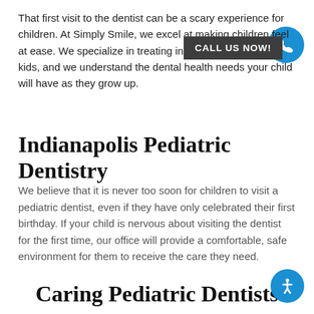That first visit to the dentist can be a scary experience for children. At Simply Smile, we excel at making children feel at ease. We specialize in treating infants as well as older kids, and we understand the dental health needs your child will have as they grow up.
Indianapolis Pediatric Dentistry
We believe that it is never too soon for children to visit a pediatric dentist, even if they have only celebrated their first birthday. If your child is nervous about visiting the dentist for the first time, our office will provide a comfortable, safe environment for them to receive the care they need.
Caring Pediatric Dentists